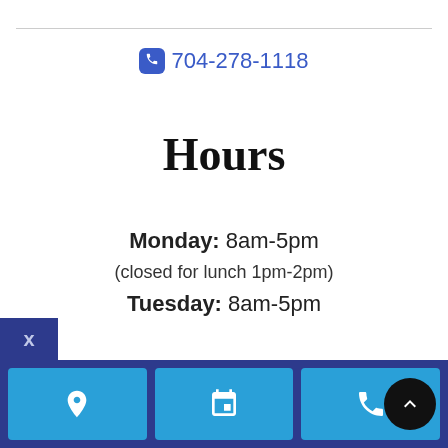704-278-1118
Hours
Monday: 8am-5pm
(closed for lunch 1pm-2pm)
Tuesday: 8am-5pm
[Figure (other): Bottom navigation bar with location pin icon, calendar icon, and phone icon buttons, plus a scroll-to-top FAB]